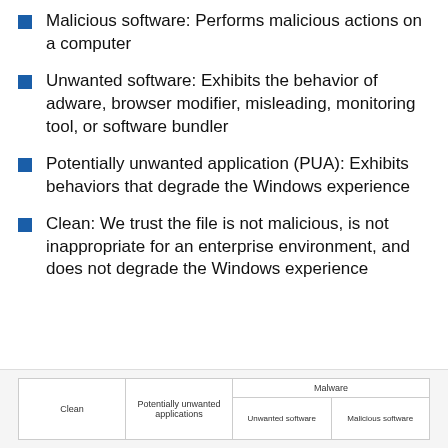Malicious software: Performs malicious actions on a computer
Unwanted software: Exhibits the behavior of adware, browser modifier, misleading, monitoring tool, or software bundler
Potentially unwanted application (PUA): Exhibits behaviors that degrade the Windows experience
Clean: We trust the file is not malicious, is not inappropriate for an enterprise environment, and does not degrade the Windows experience
[Figure (infographic): Diagram showing classification categories: Clean | Potentially unwanted applications | Malware (subdivided into: Unwanted software | Malicious software)]